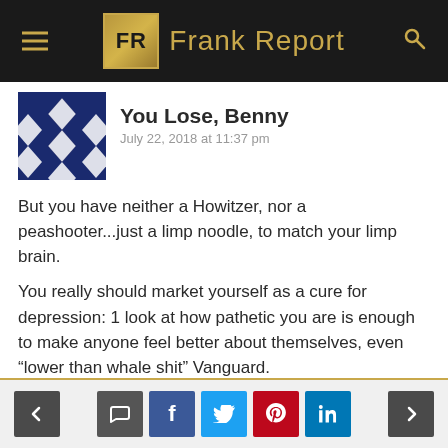Frank Report
You Lose, Benny
July 22, 2018 at 11:37 pm
But you have neither a Howitzer, nor a peashooter...just a limp noodle, to match your limp brain.

You really should market yourself as a cure for depression: 1 look at how pathetic you are is enough to make anyone feel better about themselves, even “lower than whale shit” Vanguard.
REPLY
Navigation and social share buttons